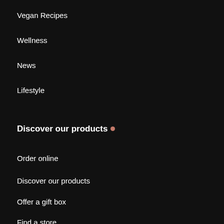Vegan Recipes
Wellness
News
Lifestyle
Discover our products
Order online
Discover our products
Offer a gift box
Find a store
FAQs